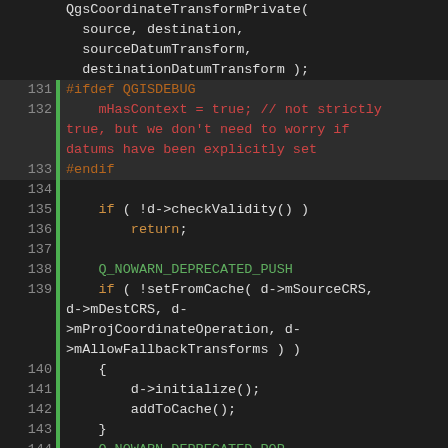[Figure (screenshot): Source code viewer showing C++ code for QgsCoordinateTransform, lines 130-154, with line numbers, green diff bars, syntax highlighting in orange, green, red, and white on dark background.]